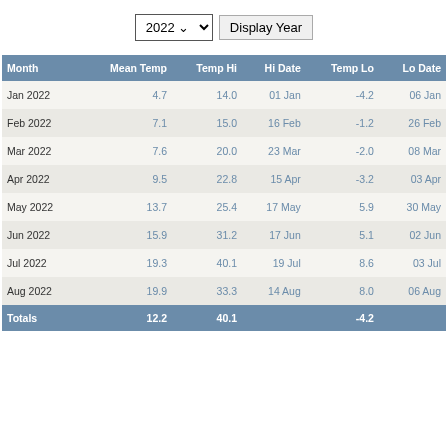| Month | Mean Temp | Temp Hi | Hi Date | Temp Lo | Lo Date |
| --- | --- | --- | --- | --- | --- |
| Jan 2022 | 4.7 | 14.0 | 01 Jan | -4.2 | 06 Jan |
| Feb 2022 | 7.1 | 15.0 | 16 Feb | -1.2 | 26 Feb |
| Mar 2022 | 7.6 | 20.0 | 23 Mar | -2.0 | 08 Mar |
| Apr 2022 | 9.5 | 22.8 | 15 Apr | -3.2 | 03 Apr |
| May 2022 | 13.7 | 25.4 | 17 May | 5.9 | 30 May |
| Jun 2022 | 15.9 | 31.2 | 17 Jun | 5.1 | 02 Jun |
| Jul 2022 | 19.3 | 40.1 | 19 Jul | 8.6 | 03 Jul |
| Aug 2022 | 19.9 | 33.3 | 14 Aug | 8.0 | 06 Aug |
| Totals | 12.2 | 40.1 |  | -4.2 |  |